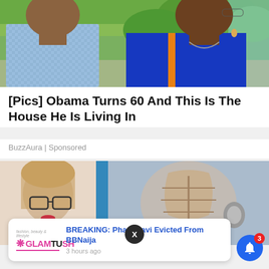[Figure (photo): Photo of two people outdoors; a man in a light blue checkered shirt on the left and a woman in a blue dress on the right, with green trees in the background.]
[Pics] Obama Turns 60 And This Is The House He Is Living In
BuzzAura | Sponsored
[Figure (photo): Photo showing a woman with glasses on the left side and a medical anatomy illustration of abdominal muscles on the right side against a blue background.]
X
[Figure (logo): GlamTush logo with pink text and sparkle graphic, with tagline 'fashion, beauty & lifestyle']
BREAKING: Pharmsavi Evicted From BBNaija
3 hours ago